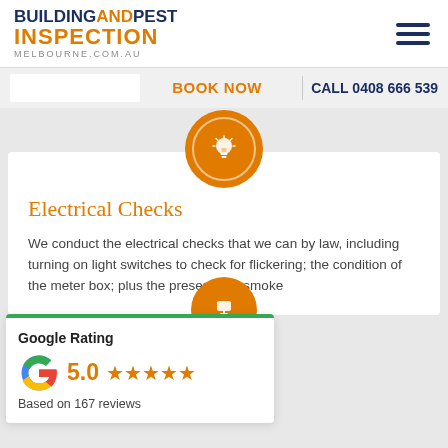[Figure (logo): Building and Pest Inspection Melbourne logo with orange and navy blue text]
BOOK NOW
CALL 0408 666 539
[Figure (illustration): Orange circle with white lightbulb icon]
Electrical Checks
We conduct the electrical checks that we can by law, including turning on light switches to check for flickering; the condition of the meter box; plus the presence of smoke
[Figure (other): Google Rating badge showing 5.0 stars based on 167 reviews]
[Figure (illustration): Orange circle with white icon at bottom of page]